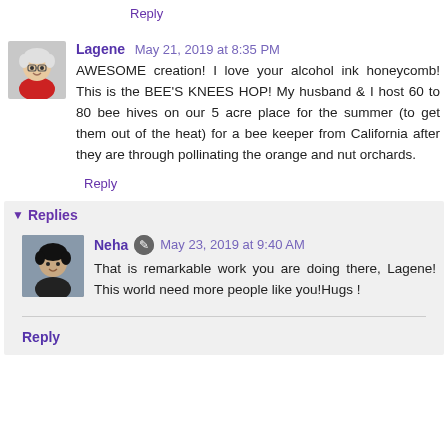Reply
Lagene  May 21, 2019 at 8:35 PM
[Figure (photo): Avatar photo of Lagene, an older woman with short white hair wearing a red top]
AWESOME creation! I love your alcohol ink honeycomb! This is the BEE'S KNEES HOP! My husband & I host 60 to 80 bee hives on our 5 acre place for the summer (to get them out of the heat) for a bee keeper from California after they are through pollinating the orange and nut orchards.
Reply
▾ Replies
[Figure (photo): Avatar photo of Neha, a dark-haired woman]
Neha  ✎  May 23, 2019 at 9:40 AM
That is remarkable work you are doing there, Lagene! This world need more people like you!Hugs !
Reply